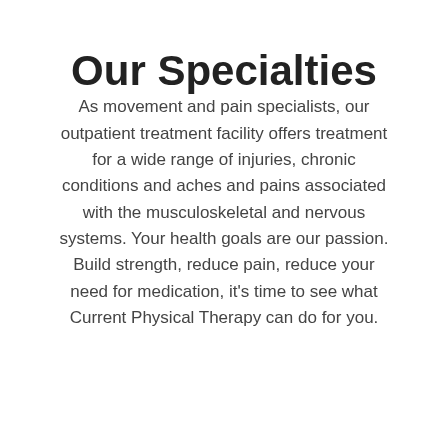Our Specialties
As movement and pain specialists, our outpatient treatment facility offers treatment for a wide range of injuries, chronic conditions and aches and pains associated with the musculoskeletal and nervous systems. Your health goals are our passion. Build strength, reduce pain, reduce your need for medication, it’s time to see what Current Physical Therapy can do for you.